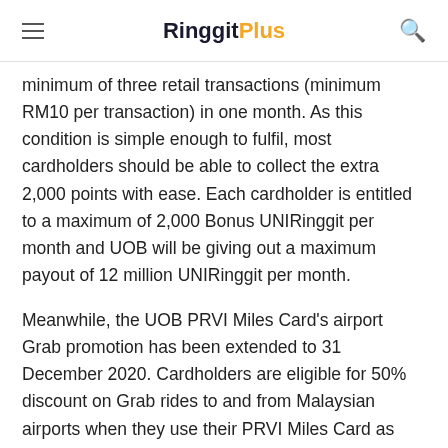RinggitPlus
minimum of three retail transactions (minimum RM10 per transaction) in one month. As this condition is simple enough to fulfil, most cardholders should be able to collect the extra 2,000 points with ease. Each cardholder is entitled to a maximum of 2,000 Bonus UNIRinggit per month and UOB will be giving out a maximum payout of 12 million UNIRinggit per month.
Meanwhile, the UOB PRVI Miles Card's airport Grab promotion has been extended to 31 December 2020. Cardholders are eligible for 50% discount on Grab rides to and from Malaysian airports when they use their PRVI Miles Card as their default GrabPay credit card and key in the given promo code. Each promo code is valid for four redemptions per customer throughout the discount period and there is a maximum cap of 600 overall